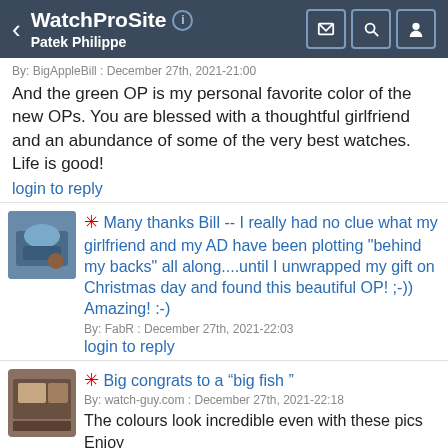WatchProSite — Patek Philippe
By: BigAppleBill : December 27th, 2021-21:00
And the green OP is my personal favorite color of the new OPs. You are blessed with a thoughtful girlfriend and an abundance of some of the very best watches. Life is good!
login to reply
* Many thanks Bill -- I really had no clue what my girlfriend and my AD have been plotting "behind my backs" all along....until I unwrapped my gift on Christmas day and found this beautiful OP! ;-))
Amazing! :-)
By: FabR : December 27th, 2021-22:03
login to reply
* Big congrats to a “big fish ”
By: watch-guy.com : December 27th, 2021-22:18
The colours look incredible even with these pics Enjoy
Julian
login to reply
* Thanks a lot Julian, indeed a pretty incredible dial